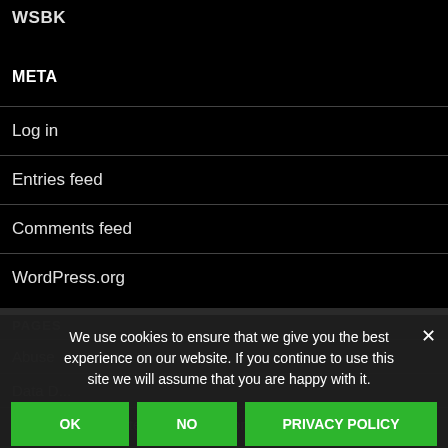WSBK
META
Log in
Entries feed
Comments feed
WordPress.org
PAGES
Abuse
Data D...
General Data Protection Regulation (GDPR)
We use cookies to ensure that we give you the best experience on our website. If you continue to use this site we will assume that you are happy with it.
OK | NO | PRIVACY POLICY